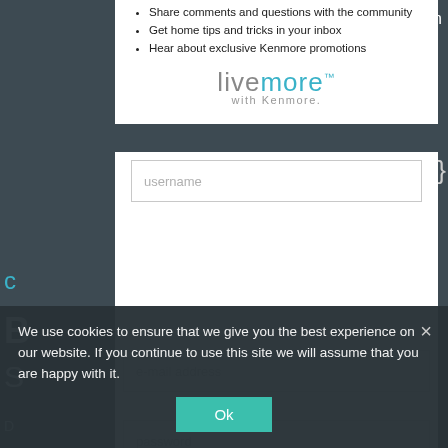Share comments and questions with the community
Get home tips and tricks in your inbox
Hear about exclusive Kenmore promotions
[Figure (logo): livemore with Kenmore logo — 'live' in gray, 'more' in teal with trademark symbol, 'with Kenmore.' in small gray text below]
username
e-mail address
password
confirm password
zip code
We use cookies to ensure that we give you the best experience on our website. If you continue to use this site we will assume that you are happy with it.
Ok